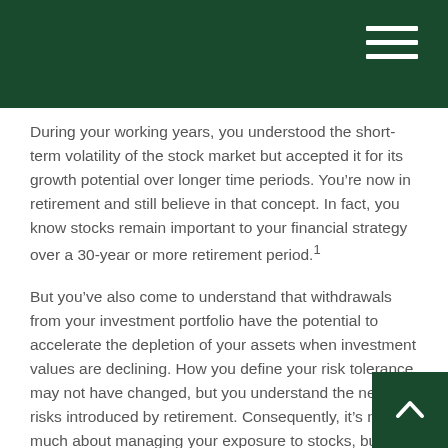During your working years, you understood the short-term volatility of the stock market but accepted it for its growth potential over longer time periods. You’re now in retirement and still believe in that concept. In fact, you know stocks remain important to your financial strategy over a 30-year or more retirement period.¹
But you’ve also come to understand that withdrawals from your investment portfolio have the potential to accelerate the depletion of your assets when investment values are declining. How you define your risk tolerance may not have changed, but you understand the new risks introduced by retirement. Consequently, it’s not so much about managing your exposure to stocks, but considering new strategies that adapt to this new landscape.¹